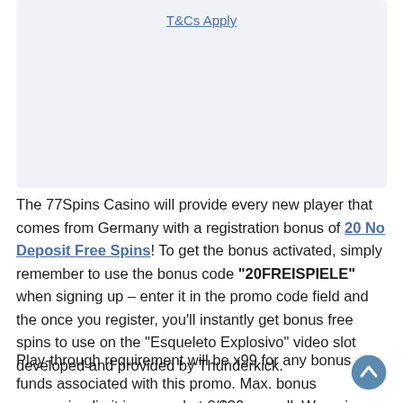T&Cs Apply
The 77Spins Casino will provide every new player that comes from Germany with a registration bonus of 20 No Deposit Free Spins! To get the bonus activated, simply remember to use the bonus code "20FREISPIELE" when signing up – enter it in the promo code field and the once you register, you'll instantly get bonus free spins to use on the "Esqueleto Explosivo" video slot developed and provided by Thunderkick.
Play-through requirement will be x99 for any bonus funds associated with this promo. Max. bonus conversion limit is capped at €/$30 as well. Wagering should be completed